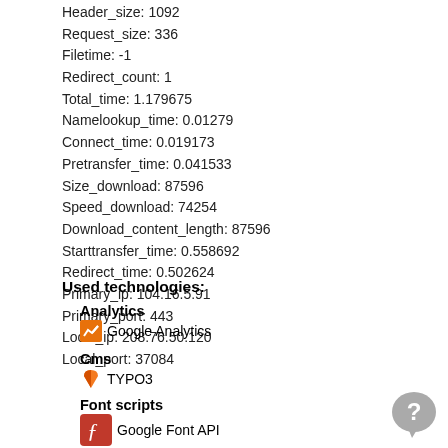Header_size: 1092
Request_size: 336
Filetime: -1
Redirect_count: 1
Total_time: 1.179675
Namelookup_time: 0.01279
Connect_time: 0.019173
Pretransfer_time: 0.041533
Size_download: 87596
Speed_download: 74254
Download_content_length: 87596
Starttransfer_time: 0.558692
Redirect_time: 0.502624
Primary_ip: 104.16.5.91
Primary_port: 443
Local_ip: 208.76.50.120
Local_port: 37084
Used technologies:
Analytics
Google Analytics
Cms
TYPO3
Font scripts
Google Font API
Javascript frameworks
Modernizr  jQuery